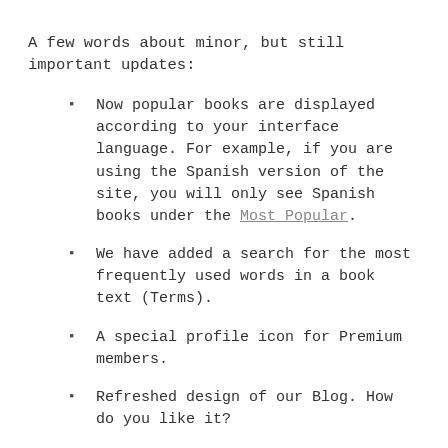A few words about minor, but still important updates:
Now popular books are displayed according to your interface language. For example, if you are using the Spanish version of the site, you will only see Spanish books under the Most Popular.
We have added a search for the most frequently used words in a book text (Terms).
A special profile icon for Premium members.
Refreshed design of our Blog. How do you like it?